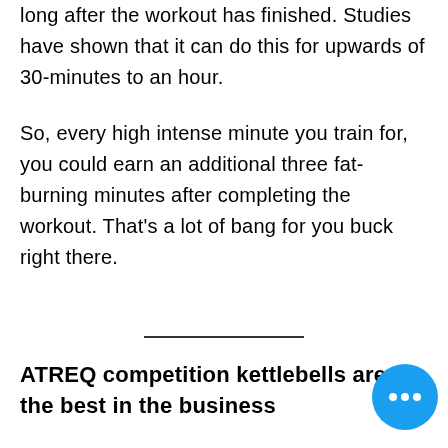long after the workout has finished. Studies have shown that it can do this for upwards of 30-minutes to an hour.
So, every high intense minute you train for, you could earn an additional three fat-burning minutes after completing the workout. That's a lot of bang for you buck right there.
ATREQ competition kettlebells are the best in the business